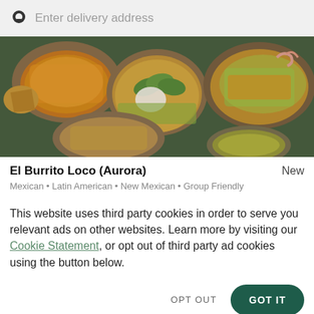Enter delivery address
[Figure (photo): Overhead photo of various Mexican dishes including nachos, avocado tostadas, and other food items in bowls]
El Burrito Loco (Aurora)
New
Mexican • Latin American • New Mexican • Group Friendly
This website uses third party cookies in order to serve you relevant ads on other websites. Learn more by visiting our Cookie Statement, or opt out of third party ad cookies using the button below.
OPT OUT
GOT IT